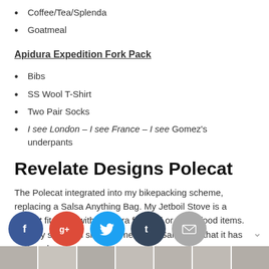Coffee/Tea/Splenda
Goatmeal
Apidura Expedition Fork Pack
Bibs
SS Wool T-Shirt
Two Pair Socks
I see London – I see France – I see Gomez's underpants
Revelate Designs Polecat
The Polecat integrated into my bikepacking scheme, replacing a Salsa Anything Bag. My Jetboil Stove is a perfect fit along with an extra fuel cell or some food items. It's very similar in size/volume to the Salsa bag that it has replaced.
We have some interesting trail data about the Polecat compared to the Salsa Anything Bag from our old amigo, Ken Blakey-Shell. KBS recently put both bags through the wringer on the AZ Trail Race and what he had to say about his experience...
[Figure (photo): Bottom strip image showing a series of photo segments]